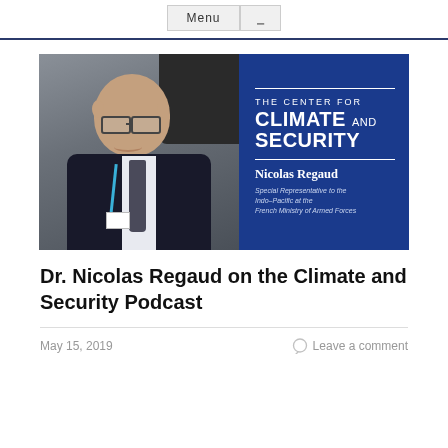Menu ☰
[Figure (photo): Left half: photo of an older bald man wearing glasses and a dark suit with a blue lanyard, smiling. Right half: blue background with 'THE CENTER FOR CLIMATE AND SECURITY' in white text, with 'Nicolas Regaud' as name and 'Special Representative to the Indo-Pacific at the French Ministry of Armed Forces' as subtitle.]
Dr. Nicolas Regaud on the Climate and Security Podcast
May 15, 2019
Leave a comment